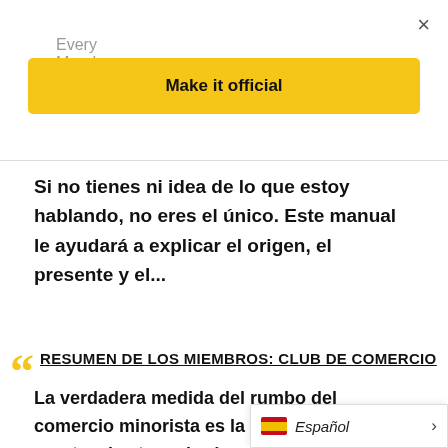Every Monday. Free.
Make it official
Si no tienes ni idea de lo que estoy hablando, no eres el único. Este manual le ayudará a explicar el origen, el presente y el...
RESUMEN DE LOS MIEMBROS: CLUB DE COMERCIO
La verdadera medida del rumbo del comercio minorista es la atención que se presta a las tecnologías que proporcionan más serendipia. El comercio minorista físico siempre tendrá su lugar y
Español